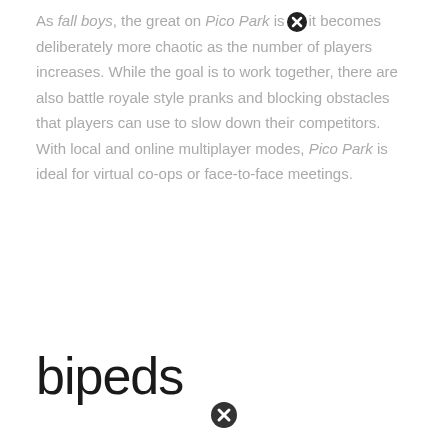As fall boys, the great on Pico Park is [icon] it becomes deliberately more chaotic as the number of players increases. While the goal is to work together, there are also battle royale style pranks and blocking obstacles that players can use to slow down their competitors. With local and online multiplayer modes, Pico Park is ideal for virtual co-ops or face-to-face meetings.
bipeds
[Figure (photo): Broken image placeholder with alt text 'Robots walk in bipeds']